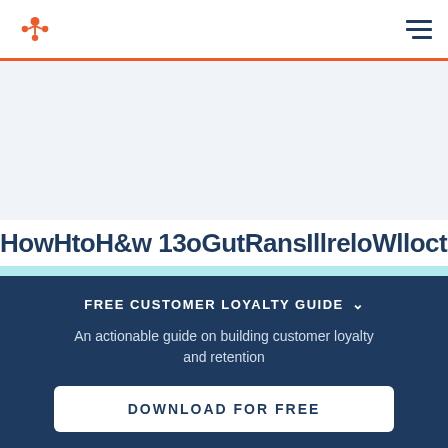HubSpot logo and navigation menu
[Figure (illustration): Light blue/grey hero area background placeholder]
HowHtoH&w 13oGutRansIllreloWlloct21sHowHtoH&w a
FREE CUSTOMER LOYALTY GUIDE
An actionable guide on building customer loyalty and retention
DOWNLOAD FOR FREE